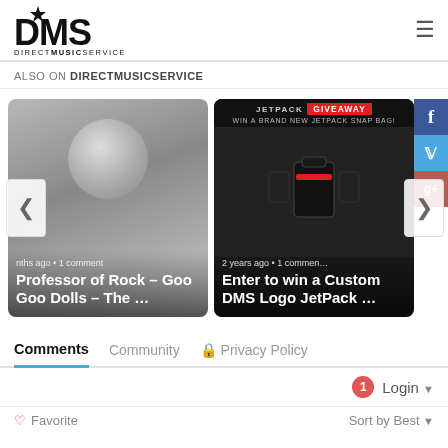DMS DIRECTMUSICSERVICE
ALSO ON DIRECTMUSICSERVICE
[Figure (screenshot): Carousel with two article cards. Left card: grey background with avatar silhouette, text '...nths ago · 1 comment', title 'Professor of Rock – Goo Goo Dolls – The ...'. Right card: dark background with JETPACK GIVEAWAY banner, text '2 years ago · 1 commen...', title 'Enter to win a Custom DMS Logo JetPack ...'. Left and right navigation arrows visible. Social share buttons (Facebook, Twitter, Google+) on the right edge.]
Comments
Community
Privacy Policy
1  Login
Favorite
Sort by Best